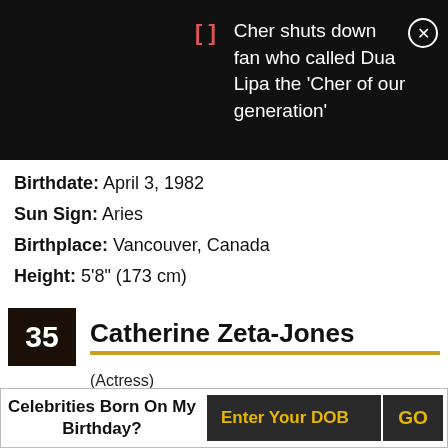Cher shuts down fan who called Dua Lipa the 'Cher of our generation'
Birthdate: April 3, 1982
Sun Sign: Aries
Birthplace: Vancouver, Canada
Height: 5'8" (173 cm)
35 Catherine Zeta-Jones (Actress)
[Figure (photo): Partial photo of Catherine Zeta-Jones]
Celebrities Born On My Birthday? Enter Your DOB GO